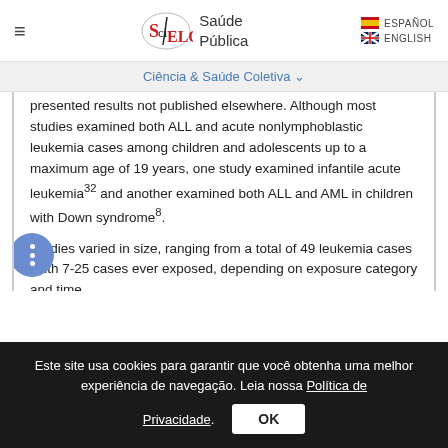SciELO Saúde Pública | ESPAÑOL ENGLISH
Ciência & Saúde Coletiva ▾
presented results not published elsewhere. Although most studies examined both ALL and acute nonlymphoblastic leukemia cases among children and adolescents up to a maximum age of 19 years, one study examined infantile acute leukemia32 and another examined both ALL and AML in children with Down syndrome8.

Studies varied in size, ranging from a total of 49 leukemia cases (with 7-25 cases ever exposed, depending on exposure category and time
Este site usa cookies para garantir que você obtenha uma melhor experiência de navegação. Leia nossa Política de Privacidade.